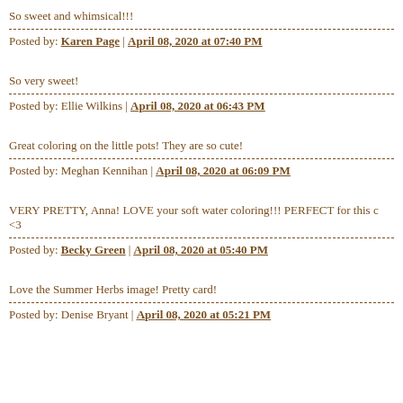So sweet and whimsical!!!
Posted by: Karen Page | April 08, 2020 at 07:40 PM
So very sweet!
Posted by: Ellie Wilkins | April 08, 2020 at 06:43 PM
Great coloring on the little pots! They are so cute!
Posted by: Meghan Kennihan | April 08, 2020 at 06:09 PM
VERY PRETTY, Anna! LOVE your soft water coloring!!! PERFECT for this c
<3
Posted by: Becky Green | April 08, 2020 at 05:40 PM
Love the Summer Herbs image! Pretty card!
Posted by: Denise Bryant | April 08, 2020 at 05:21 PM